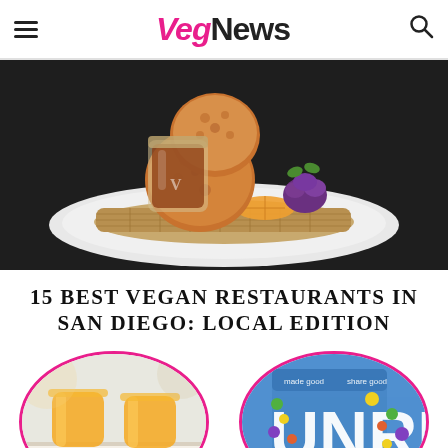VegNews
[Figure (photo): Vegan fried chicken and waffle on a white plate with maple syrup in a glass jar, garnished with purple cauliflower and orange citrus, on a dark background.]
15 BEST VEGAN RESTAURANTS IN SAN DIEGO: LOCAL EDITION
[Figure (photo): Two glasses of orange juice or beer on a light background, cropped in a pink circle border.]
[Figure (photo): Unreal brand snack packaging on blue background with colorful candy pieces, cropped in a pink circle border. Text reads 'made good share good UNRE...']